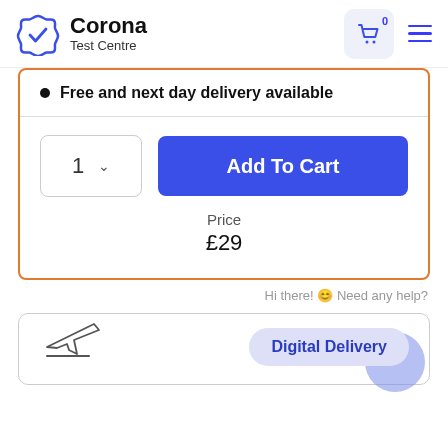[Figure (logo): Corona Test Centre logo with gear/checkmark icon in blue]
Free and next day delivery available
1  Add To Cart
Price
£29
Hi there! 🙂 Need any help?
Digital Delivery